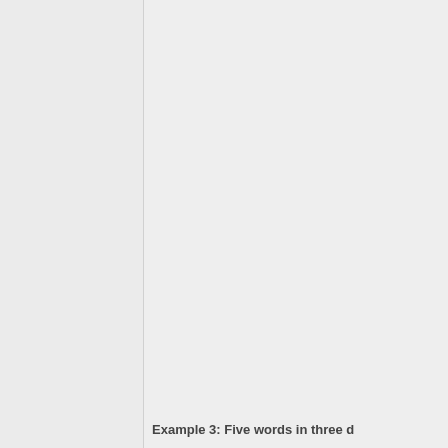Example 3: Five words in three d…